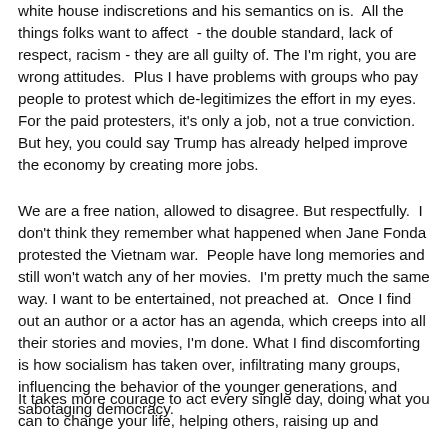white house indiscretions and his semantics on is.  All the things folks want to affect  - the double standard, lack of respect, racism - they are all guilty of. The I'm right, you are wrong attitudes.  Plus I have problems with groups who pay people to protest which de-legitimizes the effort in my eyes.  For the paid protesters, it's only a job, not a true conviction.  But hey, you could say Trump has already helped improve the economy by creating more jobs.
We are a free nation, allowed to disagree. But respectfully.  I don't think they remember what happened when Jane Fonda protested the Vietnam war.  People have long memories and still won't watch any of her movies.  I'm pretty much the same way. I want to be entertained, not preached at.  Once I find out an author or a actor has an agenda, which creeps into all their stories and movies, I'm done. What I find discomforting is how socialism has taken over, infiltrating many groups, influencing the behavior of the younger generations, and sabotaging democracy.
It takes more courage to act every single day, doing what you can to change your life, helping others, raising up and